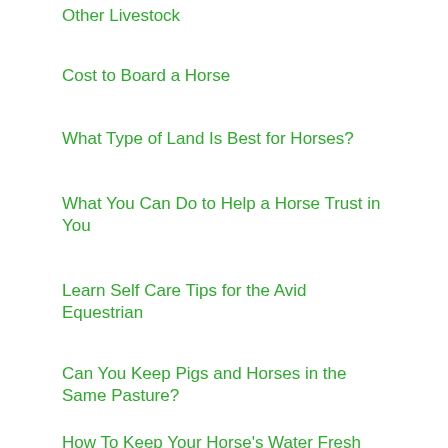Other Livestock
Cost to Board a Horse
What Type of Land Is Best for Horses?
What You Can Do to Help a Horse Trust in You
Learn Self Care Tips for the Avid Equestrian
Can You Keep Pigs and Horses in the Same Pasture?
How To Keep Your Horse's Water Fresh